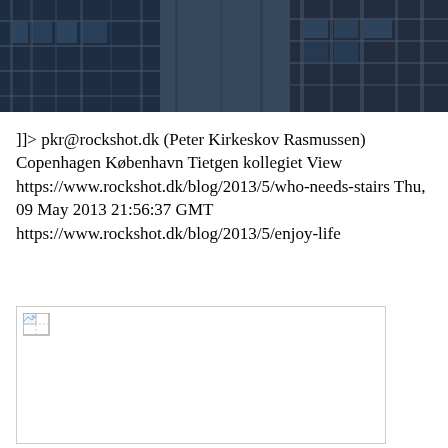[Figure (photo): Header photograph of a building under construction with dark steel/concrete framework against a dark blue sky background]
]]> pkr@rockshot.dk (Peter Kirkeskov Rasmussen) Copenhagen København Tietgen kollegiet View https://www.rockshot.dk/blog/2013/5/who-needs-stairs Thu, 09 May 2013 21:56:37 GMT https://www.rockshot.dk/blog/2013/5/enjoy-life
[Figure (photo): Broken/missing image placeholder with small broken image icon in top-left corner]